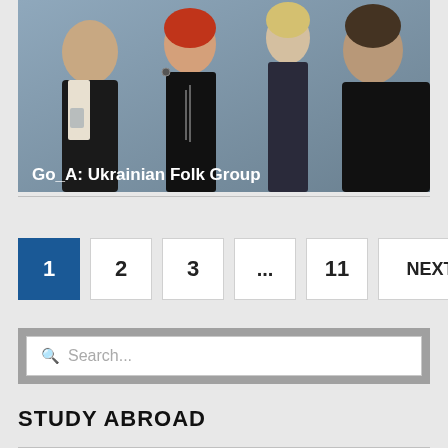[Figure (photo): Group photo of four people dressed in black against a gray-blue background. A woman with red hair stands in the center. Text overlay reads 'Go_A: Ukrainian Folk Group'.]
Go_A: Ukrainian Folk Group
1
2
3
...
11
NEXT »
Search...
STUDY ABROAD